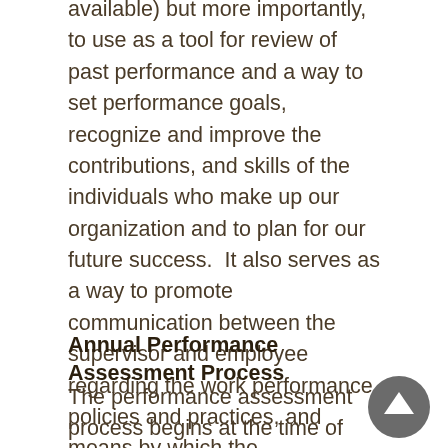available) but more importantly, to use as a tool for review of past performance and a way to set performance goals, recognize and improve the contributions, and skills of the individuals who make up our organization and to plan for our future success.  It also serves as a way to promote communication between the supervisor and employee regarding the work performance, policies and practices, and means by which the performance can be enhanced and to help the supervisor determine the overall performance rating.
Annual Performance Assessment Process
The performance assessment process begins at the time of hire or the beginning of the